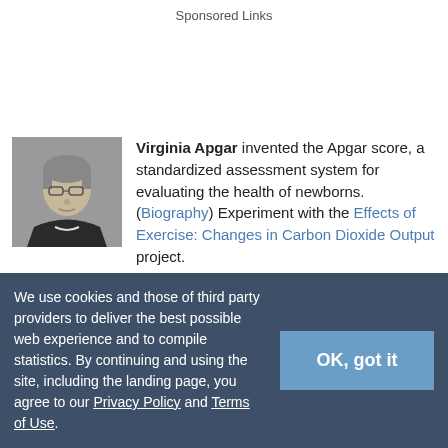Sponsored Links
[Figure (photo): Black and white photograph of Virginia Apgar, an older woman with glasses]
Virginia Apgar invented the Apgar score, a standardized assessment system for evaluating the health of newborns. (Biography) Experiment with the Effects of Exercise: Changes in Carbon Dioxide Output project.
Career connection: Physician
[Figure (photo): Partial black and white photograph of Alice Ball]
5. Alice Ball, chemist
We use cookies and those of third party providers to deliver the best possible web experience and to compile statistics. By continuing and using the site, including the landing page, you agree to our Privacy Policy and Terms of Use.